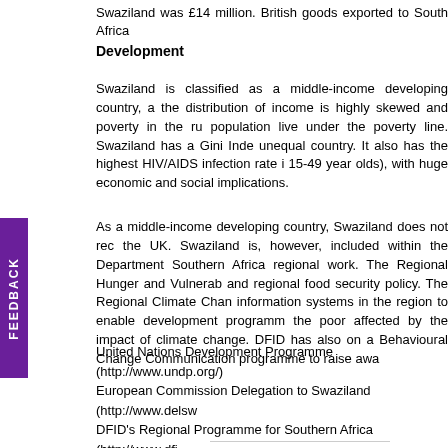Swaziland was £14 million. British goods exported to South Africa
Development
Swaziland is classified as a middle-income developing country, a the distribution of income is highly skewed and poverty in the ru population live under the poverty line. Swaziland has a Gini Inde unequal country. It also has the highest HIV/AIDS infection rate i 15-49 year olds), with huge economic and social implications.
As a middle-income developing country, Swaziland does not rec the UK. Swaziland is, however, included within the Department Southern Africa regional work. The Regional Hunger and Vulnerab and regional food security policy. The Regional Climate Chan information systems in the region to enable development program the poor affected by the impact of climate change. DFID has also on a Behavioural Change Communication programme to raise awa
United Nations Development Programme (http://www.undp.org/)
European Commission Delegation to Swaziland (http://www.delsw
DFID's Regional Programme for Southern Africa (http://www.dfi
Southern/South-Africa/Regional-programme/)